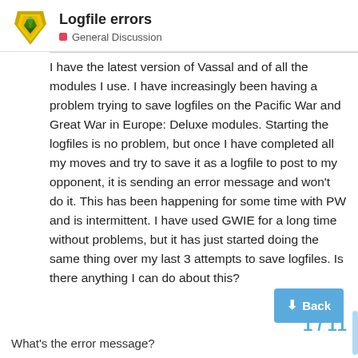Logfile errors | General Discussion
I have the latest version of Vassal and of all the modules I use. I have increasingly been having a problem trying to save logfiles on the Pacific War and Great War in Europe: Deluxe modules. Starting the logfiles is no problem, but once I have completed all my moves and try to save it as a logfile to post to my opponent, it is sending an error message and won't do it. This has been happening for some time with PW and is intermittent. I have used GWIE for a long time without problems, but it has just started doing the same thing over my last 3 attempts to save logfiles. Is there anything I can do about this?
What's the error message?